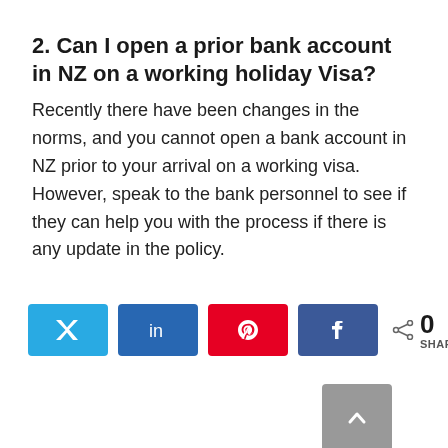2. Can I open a prior bank account in NZ on a working holiday Visa?
Recently there have been changes in the norms, and you cannot open a bank account in NZ prior to your arrival on a working visa. However, speak to the bank personnel to see if they can help you with the process if there is any update in the policy.
[Figure (other): Social sharing bar with Twitter, LinkedIn, Pinterest, and Facebook buttons, a share count showing 0 SHARES, and a scroll-to-top button.]